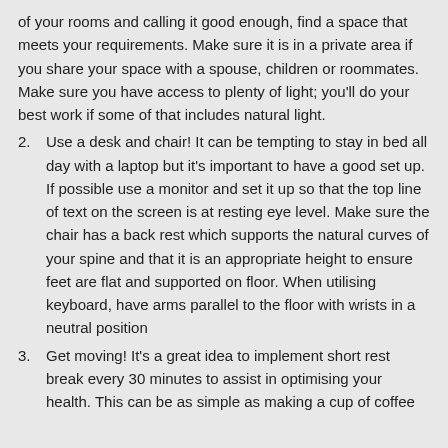of your rooms and calling it good enough, find a space that meets your requirements. Make sure it is in a private area if you share your space with a spouse, children or roommates. Make sure you have access to plenty of light; you'll do your best work if some of that includes natural light.
2. Use a desk and chair! It can be tempting to stay in bed all day with a laptop but it's important to have a good set up. If possible use a monitor and set it up so that the top line of text on the screen is at resting eye level. Make sure the chair has a back rest which supports the natural curves of your spine and that it is an appropriate height to ensure feet are flat and supported on floor. When utilising keyboard, have arms parallel to the floor with wrists in a neutral position
3. Get moving! It's a great idea to implement short rest break every 30 minutes to assist in optimising your health. This can be as simple as making a cup of coffee